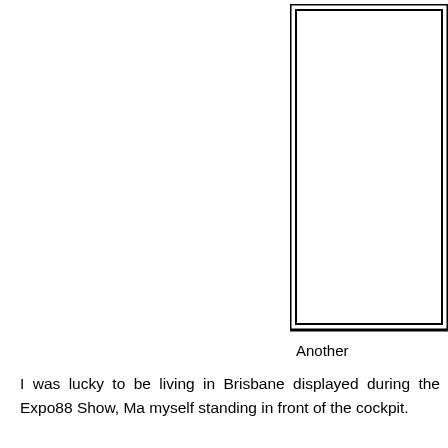[Figure (other): A rectangular framed box (double border) positioned in the upper right area of the page, representing a placeholder for a photograph or image. The box is mostly cut off at the right edge.]
Another
I was lucky to be living in Brisbane displayed during the Expo88 Show, Ma myself standing in front of the cockpit.